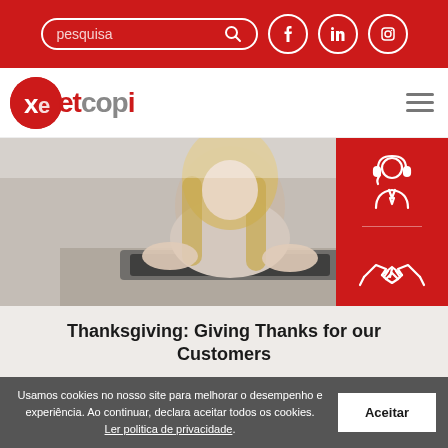pesquisa [search bar] [Facebook] [LinkedIn] [Instagram]
[Figure (logo): Xetcopi company logo with red circle X and grey/red text, hamburger menu icon]
[Figure (photo): Woman with long blonde hair typing on a keyboard/tablet, office environment, blurred background. Red box overlay on right with customer support icon (headset person) and handshake icon.]
Thanksgiving: Giving Thanks for our Customers
Here in the United States, it is almost Thanksgiving Day. It is that time of the year
Usamos cookies no nosso site para melhorar o desempenho e experiência. Ao continuar, declara aceitar todos os cookies. Ler politica de privacidade. Aceitar